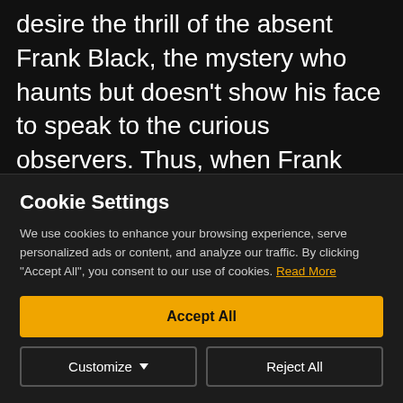desire the thrill of the absent Frank Black, the mystery who haunts but doesn't show his face to speak to the curious observers. Thus, when Frank shines the flashlight on his face to scare them away, the veil of mystique is lifted and the fleshly embodiment of stories
Cookie Settings
We use cookies to enhance your browsing experience, serve personalized ads or content, and analyze our traffic. By clicking "Accept All", you consent to our use of cookies. Read More
Accept All
Customize
Reject All